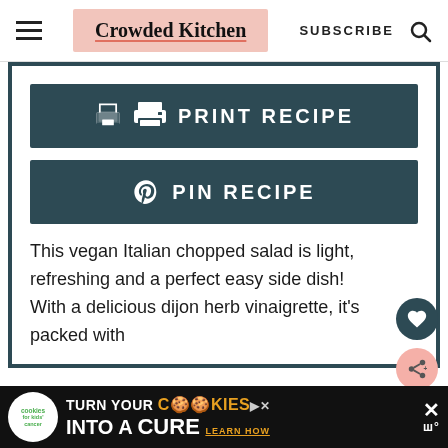Crowded Kitchen — SUBSCRIBE
[Figure (screenshot): Print Recipe button — dark teal rectangular button with printer icon and text 'PRINT RECIPE' in white uppercase letters]
[Figure (screenshot): Pin Recipe button — dark teal rectangular button with Pinterest icon and text 'PIN RECIPE' in white uppercase letters]
This vegan Italian chopped salad is light, refreshing and a perfect easy side dish! With a delicious dijon herb vinaigrette, it's packed with
[Figure (screenshot): Ad banner: cookies for kids cancer — turn your COOKIES into a CURE LEARN HOW]